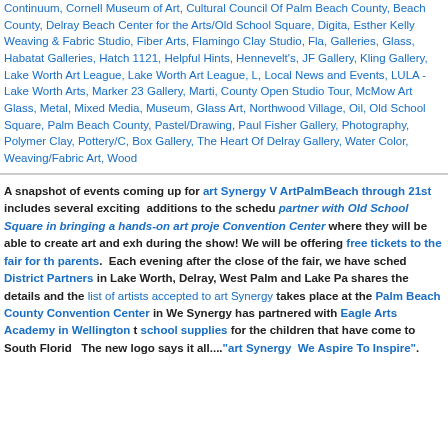Continuum, Cornell Museum of Art, Cultural Council Of Palm Beach County, Beach County, Delray Beach Center for the Arts/Old School Square, Digital, Esther Kelly Weaving & Fabric Studio, Fiber Arts, Flamingo Clay Studio, Fla, Galleries, Glass, Habatat Galleries, Hatch 1121, Helpful Hints, Hennevelt's, JF Gallery, Kling Gallery, Lake Worth Art League, Lake Worth Art League, L, Local News and Events, LULA - Lake Worth Arts, Marker 23 Gallery, Marti, County Open Studio Tour, McMow Art Glass, Metal, Mixed Media, Museum, Glass Art, Northwood Village, Oil, Old School Square, Palm Beach County, Pastel/Drawing, Paul Fisher Gallery, Photography, Polymer Clay, Pottery/C, Box Gallery, The Heart Of Delray Gallery, Water Color, Weaving/Fabric Art, Wood
A snapshot of events coming up for art Synergy V ArtPalmBeach through 21st includes several exciting additions to the schedule. partner with Old School Square in bringing a hands-on art project Convention Center where they will be able to create art and exhibit during the show! We will be offering free tickets to the fair for the parents. Each evening after the close of the fair, we have scheduled District Partners in Lake Worth, Delray, West Palm and Lake Pa, shares the details and the list of artists accepted to art Synergy takes place at the Palm Beach County Convention Center in We, Synergy has partnered with Eagle Arts Academy in Wellington t, school supplies for the children that have come to South Florida. The new logo says it all...."art Synergy We Aspire To Inspire".